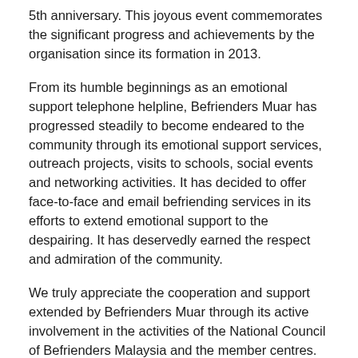5th anniversary. This joyous event commemorates the significant progress and achievements by the organisation since its formation in 2013.
From its humble beginnings as an emotional support telephone helpline, Befrienders Muar has progressed steadily to become endeared to the community through its emotional support services, outreach projects, visits to schools, social events and networking activities. It has decided to offer face-to-face and email befriending services in its efforts to extend emotional support to the despairing. It has deservedly earned the respect and admiration of the community.
We truly appreciate the cooperation and support extended by Befrienders Muar through its active involvement in the activities of the National Council of Befrienders Malaysia and the member centres.
Volunteers are the centre's greatest assets. We congratulate the